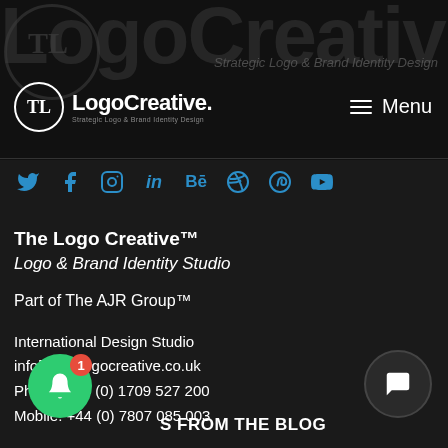[Figure (screenshot): Screenshot of The Logo Creative website footer/navigation area on dark background showing logo, menu, social icons, and contact information]
LogoCreative. Strategic Logo & Brand Identity Design
The Logo Creative™
Logo & Brand Identity Studio
Part of The AJR Group™
International Design Studio
info[at]thelogocreative.co.uk
Phone: +44 (0) 1709 527 200
Mobile: +44 (0) 7807 085 003
S FROM THE BLOG